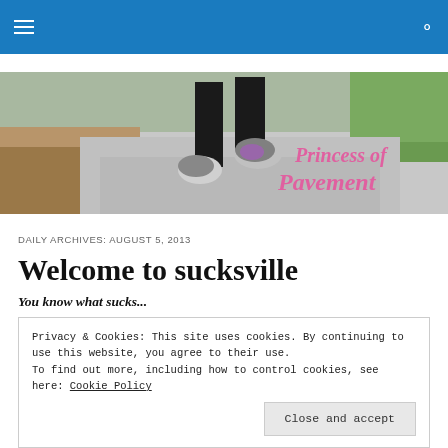navigation bar with hamburger menu and search icon
[Figure (photo): Close-up photo of a person running on pavement, showing legs and running shoes mid-stride, with 'Princess of Pavement' text overlay in pink decorative font on the right side]
DAILY ARCHIVES: AUGUST 5, 2013
Welcome to sucksville
You know what sucks...
Privacy & Cookies: This site uses cookies. By continuing to use this website, you agree to their use.
To find out more, including how to control cookies, see here: Cookie Policy
Close and accept
all for naught.